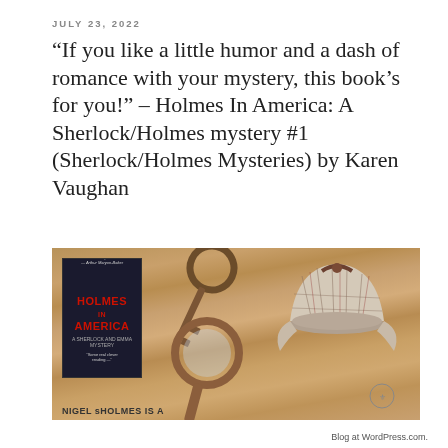JULY 23, 2022
“If you like a little humor and a dash of romance with your mystery, this book’s for you!” – Holmes In America: A Sherlock/Holmes mystery #1 (Sherlock/Holmes Mysteries) by Karen Vaughan
[Figure (photo): Book cover of Holmes In America by Karen Vaughan alongside detective props: magnifying glass, antique key, and deerstalker hat on a wooden surface. Caption at bottom reads: NIGEL sHOLMES IS A]
Blog at WordPress.com.